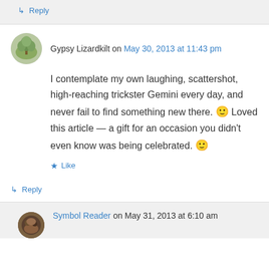↳ Reply
Gypsy Lizardkilt on May 30, 2013 at 11:43 pm
I contemplate my own laughing, scattershot, high-reaching trickster Gemini every day, and never fail to find something new there. 🙂 Loved this article — a gift for an occasion you didn't even know was being celebrated. 🙂
★ Like
↳ Reply
Symbol Reader on May 31, 2013 at 6:10 am